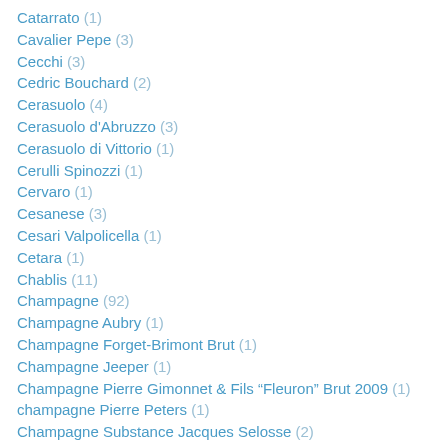Catarrato (1)
Cavalier Pepe (3)
Cecchi (3)
Cedric Bouchard (2)
Cerasuolo (4)
Cerasuolo d'Abruzzo (3)
Cerasuolo di Vittorio (1)
Cerulli Spinozzi (1)
Cervaro (1)
Cesanese (3)
Cesari Valpolicella (1)
Cetara (1)
Chablis (11)
Champagne (92)
Champagne Aubry (1)
Champagne Forget-Brimont Brut (1)
Champagne Jeeper (1)
Champagne Pierre Gimonnet & Fils “Fleuron” Brut 2009 (1)
champagne Pierre Peters (1)
Champagne Substance Jacques Selosse (2)